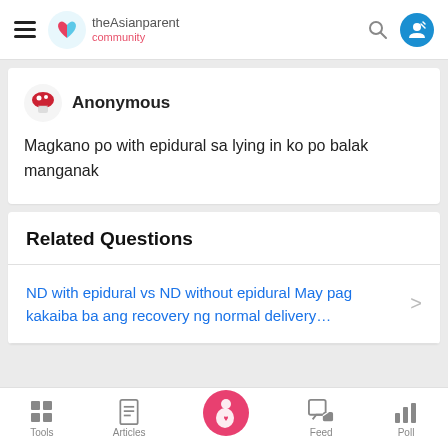theAsianparent community
Anonymous
Magkano po with epidural sa lying in ko po balak manganak
Related Questions
ND with epidural vs ND without epidural May pag kakaiba ba ang recovery ng normal delivery…
Tools | Articles | Feed | Poll